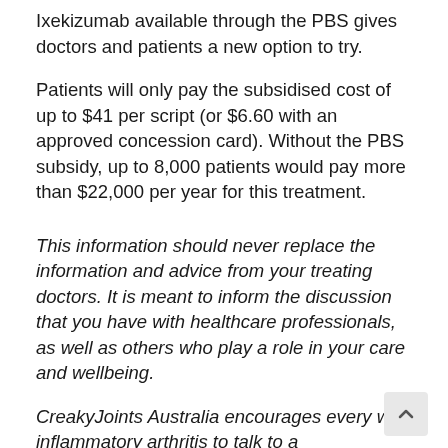Ixekizumab available through the PBS gives doctors and patients a new option to try.
Patients will only pay the subsidised cost of up to $41 per script (or $6.60 with an approved concession card). Without the PBS subsidy, up to 8,000 patients would pay more than $22,000 per year for this treatment.
This information should never replace the information and advice from your treating doctors. It is meant to inform the discussion that you have with healthcare professionals, as well as others who play a role in your care and wellbeing.
CreakyJoints Australia encourages every with inflammatory arthritis to talk to a